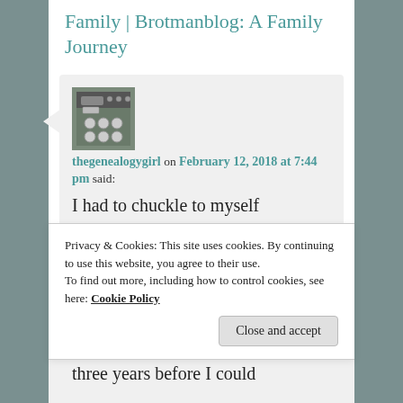Family | Brotmanblog: A Family Journey
[Figure (photo): Avatar image of a typewriter keyboard close-up]
thegenealogygirl on February 12, 2018 at 7:44 pm said:
I had to chuckle to myself
three years before I could
Privacy & Cookies: This site uses cookies. By continuing to use this website, you agree to their use.
To find out more, including how to control cookies, see here: Cookie Policy
Close and accept